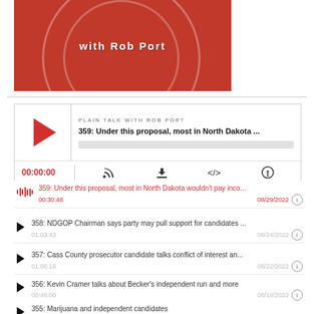[Figure (screenshot): Red podcast banner with text 'with Rob Port' and circular design elements]
[Figure (screenshot): Podcast player widget showing episode 359 with play button, progress bar, time display 00:00:00, and control icons]
359: Under this proposal, most in North Dakota wouldn't pay inco... | 00:30:48 | 08/29/2022
358: NDGOP Chairman says party may pull support for candidates ... | 01:03:43 | 08/24/2022
357: Cass County prosecutor candidate talks conflict of interest an... | 01:06:16 | 08/22/2022
356: Kevin Cramer talks about Becker's independent run and more | 00:46:00 | 08/19/2022
355: Marijuana and independent candidates | 01:07:01 | 08/17/2022